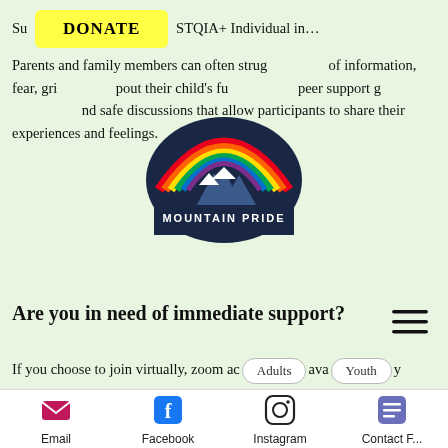Su... DONATE ...STQIA+ Individual in... Parents and family members can often struggle... of information, fear, grief... about their child's future. This... peer support group offers... and safe discussions that allow participants to share their experiences and feelings.
[Figure (logo): Mountain Pride logo with rainbow arc over mountain peaks, text MOUNTAIN PRIDE below]
Are you in need of immediate support?
If you choose to join virtually, zoom access available by contacting: mountainprideec@gmail.com
Email | Facebook | Instagram | Contact F...